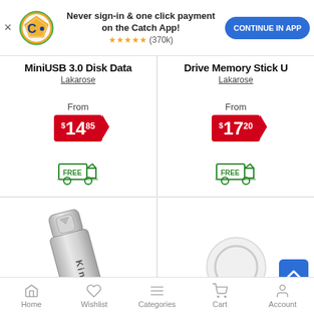[Figure (screenshot): Catch app promotional banner with logo, text 'Never sign-in & one click payment on the Catch App!', star rating (370k reviews), and 'CONTINUE IN APP' button]
MiniUSB 3.0 Disk Data
Lakarose
From $14.85
[Figure (illustration): Free delivery truck icon with FREE label in green]
Drive Memory Stick U
Lakarose
From $17.20
[Figure (illustration): Free delivery truck icon with FREE label in green]
[Figure (photo): Kingstick silver USB flash drive with keyring hole]
[Figure (illustration): Gray circle/loading placeholder on white card background]
Home  Wishlist  Categories  Cart  Account